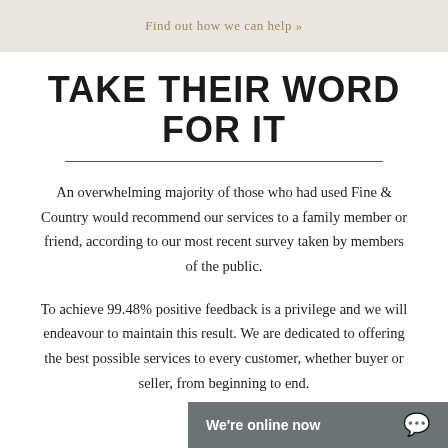Find out how we can help »
TAKE THEIR WORD FOR IT
An overwhelming majority of those who had used Fine & Country would recommend our services to a family member or friend, according to our most recent survey taken by members of the public.
To achieve 99.48% positive feedback is a privilege and we will endeavour to maintain this result. We are dedicated to offering the best possible services to every customer, whether buyer or seller, from beginning to end.
We're online now